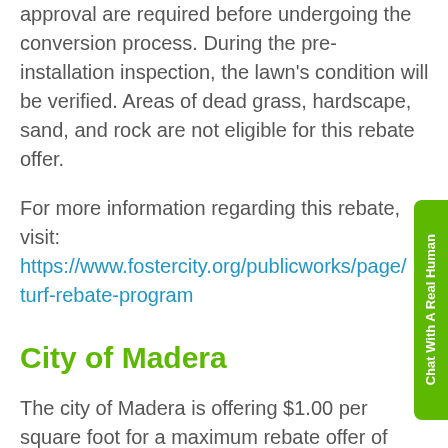approval are required before undergoing the conversion process. During the pre-installation inspection, the lawn's condition will be verified. Areas of dead grass, hardscape, sand, and rock are not eligible for this rebate offer.
For more information regarding this rebate, visit: https://www.fostercity.org/publicworks/page/turf-rebate-program
City of Madera
The city of Madera is offering $1.00 per square foot for a maximum rebate offer of $1,000. The turf being